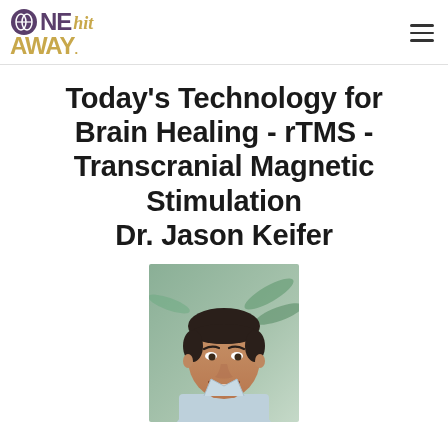ONE hit AWAY. [logo with hamburger menu]
Today's Technology for Brain Healing - rTMS - Transcranial Magnetic Stimulation
Dr. Jason Keifer
[Figure (photo): Headshot photo of Dr. Jason Keifer, a man with dark hair, smiling, wearing a light blue shirt, with tropical foliage in the background.]